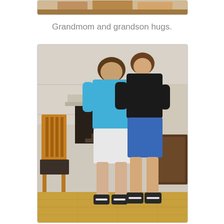[Figure (photo): Partial top image visible at the very top of the page, cropped]
Grandmom and grandson hugs.
[Figure (photo): A grandmother and grandson hugging inside a home. The younger person in a teal/turquoise shirt and white shorts hugs an older person in a black shirt and blue shorts. A wooden chair and fireplace are visible in the background, with a wood floor.]